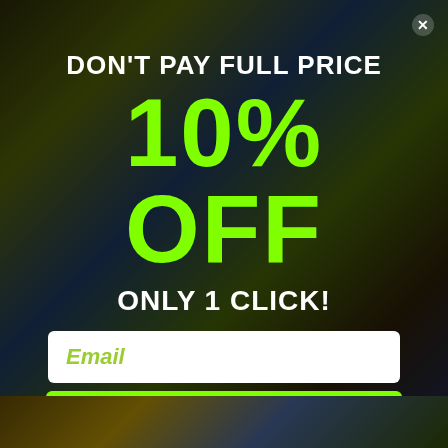[Figure (screenshot): Promotional popup overlay on a website showing a discount offer. Background shows a colorful graffiti mural with an anime-style character. The popup contains text 'DON'T PAY FULL PRICE', '10% OFF', 'ONLY 1 CLICK!', an email input field, and a green CONTINUE button.]
DON'T PAY FULL PRICE
10% OFF
ONLY 1 CLICK!
Email
CONTINUE